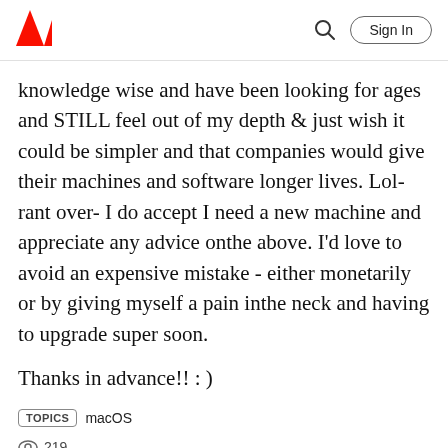Adobe header with logo, search icon, and Sign In button
knowledge wise and have been looking for ages and STILL feel out of my depth & just wish it could be simpler and that companies would give their machines and software longer lives. Lol- rant over- I do accept I need a new machine and appreciate any advice onthe above. I'd love to avoid an expensive mistake - either monetarily or by giving myself a pain inthe neck and having to upgrade super soon.
Thanks in advance!! : )
TOPICS  macOS
219
Like  Translate  ...  Reply